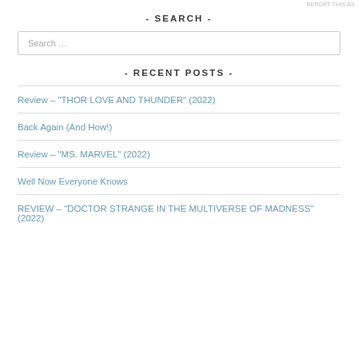Report this as
- SEARCH -
Search …
- RECENT POSTS -
Review – "THOR LOVE AND THUNDER" (2022)
Back Again (And How!)
Review – "MS. MARVEL" (2022)
Well Now Everyone Knows
REVIEW – "DOCTOR STRANGE IN THE MULTIVERSE OF MADNESS" (2022)